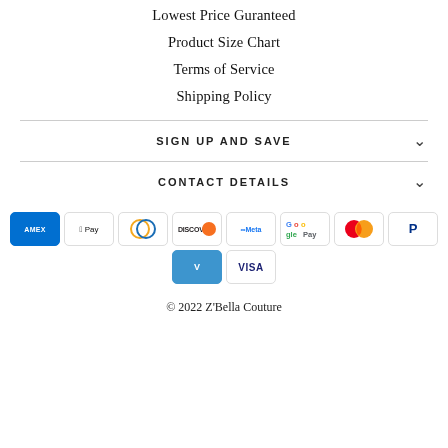Lowest Price Guranteed
Product Size Chart
Terms of Service
Shipping Policy
SIGN UP AND SAVE
CONTACT DETAILS
[Figure (logo): Payment method logos: American Express, Apple Pay, Diners Club, Discover, Meta Pay, Google Pay, Mastercard, PayPal, Venmo, Visa]
© 2022 Z'Bella Couture